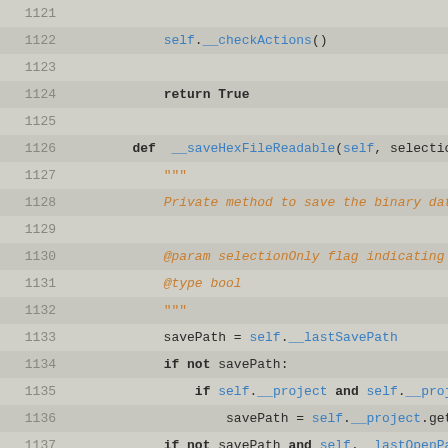[Figure (screenshot): Source code listing showing Python methods with line numbers 1121-1147, with syntax highlighting in blue, orange, and dark colors on a light gray background.]